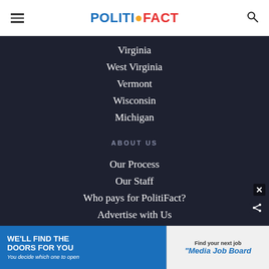POLITIFACT
Virginia
West Virginia
Vermont
Wisconsin
Michigan
ABOUT US
Our Process
Our Staff
Who pays for PolitiFact?
Advertise with Us
Corrections and Updates
WE'LL FIND THE DOORS FOR YOU You decide which one to open  | Find your next job Media Job Board